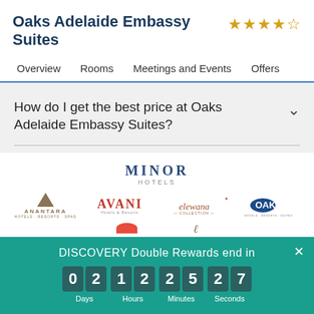Oaks Adelaide Embassy Suites
★★★★☆
Overview    Rooms    Meetings and Events    Offers
How do I get the best price at Oaks Adelaide Embassy Suites?
[Figure (logo): MINOR HOTELS logo with brand partners: Anantara Hotels Resorts Spas, Avani Hotels & Resorts, Elewana Collection, Oaks Hotels]
DISCOVERY Double Rewards end in
0 2  1 2  2 5  2 7
Days  Hours  Minutes  Seconds